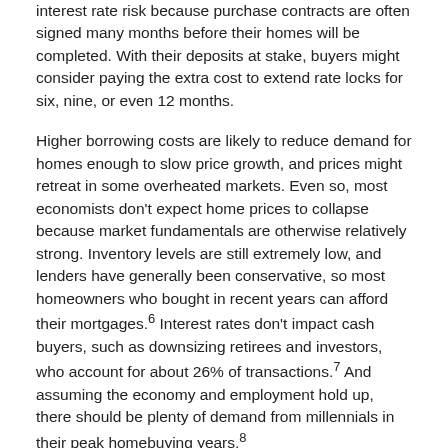interest rate risk because purchase contracts are often signed many months before their homes will be completed. With their deposits at stake, buyers might consider paying the extra cost to extend rate locks for six, nine, or even 12 months.
Higher borrowing costs are likely to reduce demand for homes enough to slow price growth, and prices might retreat in some overheated markets. Even so, most economists don't expect home prices to collapse because market fundamentals are otherwise relatively strong. Inventory levels are still extremely low, and lenders have generally been conservative, so most homeowners who bought in recent years can afford their mortgages.6 Interest rates don't impact cash buyers, such as downsizing retirees and investors, who account for about 26% of transactions.7 And assuming the economy and employment hold up, there should be plenty of demand from millennials in their peak homebuying years.8